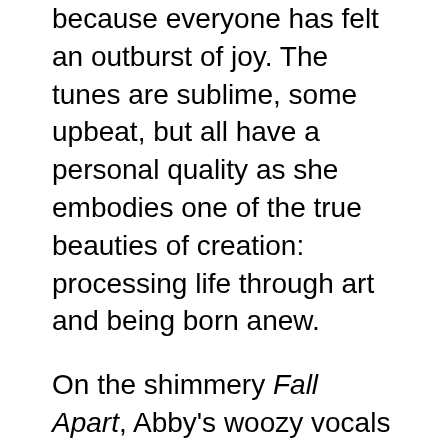because everyone has felt an outburst of joy. The tunes are sublime, some upbeat, but all have a personal quality as she embodies one of the true beauties of creation: processing life through art and being born anew.
On the shimmery Fall Apart, Abby's woozy vocals mesh so sweetly with the jaunty sonic mood that you may not even notice it's a break-up song. It's waking up not knowing what new experience will be enjoyed or what mistakes will be made. It's feeling something for the first time. The Trilogy feels like a much-needed awakening, an empowering anthem simmering with so much cinematic intensity and emotion bubbling up through its glowing, dreamlike haze that it might just make you feel invincible. The flowing Low Low Low drenches the atmosphere with ethereal, finger-picked guitar and breathy vocals. It's bracing—like that early morning swim—initially pulsing, then still as when you close your eyes and can only hear the air funneling in and out of